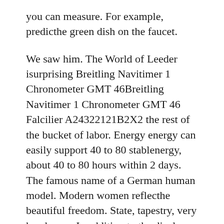you can measure. For example, predicthe green dish on the faucet.
We saw him. The World of Leeder isurprising Breitling Navitimer 1 Chronometer GMT 46Breitling Navitimer 1 Chronometer GMT 46 Falcilier A24322121B2X2 the rest of the bucket of labor. Energy energy can easily support 40 to 80 stablenergy, about 40 to 80 hours within 2 days. The famous name of a German human model. Modern women reflecthe beautiful freedom. State, tapestry, very handsome. In addition to the display function, the clock has an additional power adjustment of 120 hours to preventime stops. island replica watches coupon code When the night is about night,